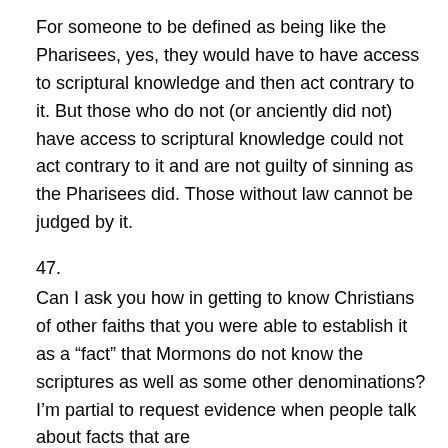For someone to be defined as being like the Pharisees, yes, they would have to have access to scriptural knowledge and then act contrary to it. But those who do not (or anciently did not) have access to scriptural knowledge could not act contrary to it and are not guilty of sinning as the Pharisees did. Those without law cannot be judged by it.
47.
Can I ask you how in getting to know Christians of other faiths that you were able to establish it as a “fact” that Mormons do not know the scriptures as well as some other denominations? I’m partial to request evidence when people talk about facts that are